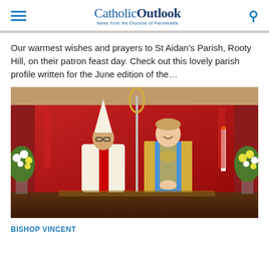CatholicOutlook — News from the Diocese of Parramatta
Our warmest wishes and prayers to St Aidan's Parish, Rooty Hill, on their patron feast day. Check out this lovely parish profile written for the June edition of the...
[Figure (photo): Two clergy members in ornate vestments standing in front of a red backdrop with floral arrangements. One wearing a bishop's mitre and holding a crozier, the other in blue and gold vestments with hands in prayer.]
BISHOP VINCENT